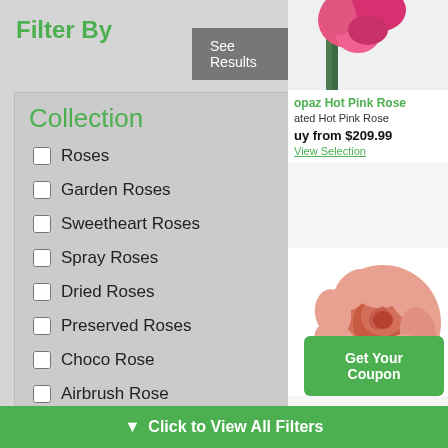Filter By
[Figure (screenshot): See Results button (dark grey background, white text)]
Collection
Roses
Garden Roses
Sweetheart Roses
Spray Roses
Dried Roses
Preserved Roses
Choco Rose
Airbrush Rose
Wooden Roses
[Figure (photo): Hot pink rose flower partially visible in upper right corner]
opaz Hot Pink Rose
ated Hot Pink Rose
uy from $209.99
View Selection
[Figure (photo): Salmon/coral colored garden rose, close-up view]
Get Your Coupon
Click to View All Filters